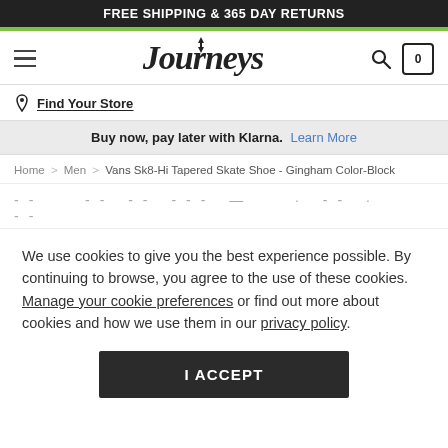FREE SHIPPING & 365 DAY RETURNS
[Figure (logo): Journeys logo with stylized text and decorative arrows]
Find Your Store
Buy now, pay later with Klarna. Learn More
Home > Men > Vans Sk8-Hi Tapered Skate Shoe - Gingham Color-Block
We use cookies to give you the best experience possible. By continuing to browse, you agree to the use of these cookies. Manage your cookie preferences or find out more about cookies and how we use them in our privacy policy.
I ACCEPT